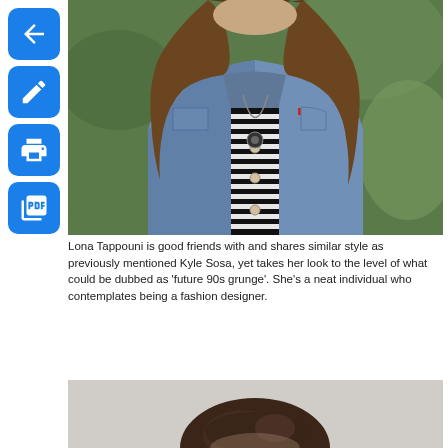[Figure (photo): Young woman wearing a denim jacket over a black and white striped shirt, with long brown hair, photographed outdoors with green foliage in background]
Lona Tappouni is good friends with and shares similar style as previously mentioned Kyle Sosa, yet takes her look to the level of what could be dubbed as 'future 90s grunge'. She's a neat individual who contemplates being a fashion designer.
[Figure (photo): Young woman with dark brown hair pulled back, photographed against a light background, partial view]